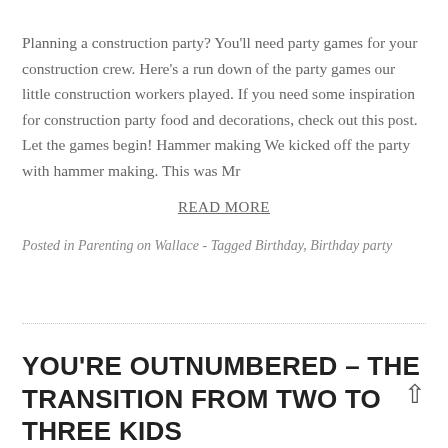Planning a construction party? You'll need party games for your construction crew. Here's a run down of the party games our little construction workers played. If you need some inspiration for construction party food and decorations, check out this post. Let the games begin! Hammer making We kicked off the party with hammer making. This was Mr
READ MORE
Posted in Parenting on Wallace - Tagged Birthday, Birthday party
YOU'RE OUTNUMBERED – THE TRANSITION FROM TWO TO THREE KIDS